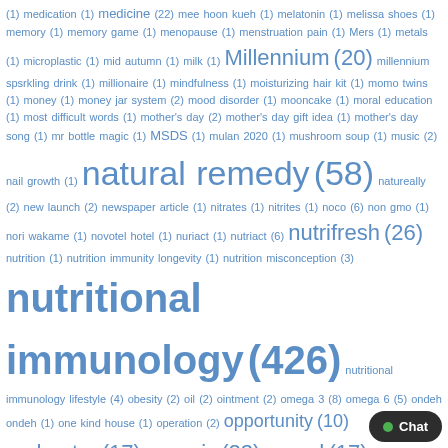Tag cloud showing various health, nutrition, and lifestyle terms with their frequencies. Notable large tags: nutritional immunology (426), oxyginberry (405), oxyginberry complex (219), natural remedy (58), Millennium (20), nutrifresh (26), organic (23), oseed (17), orchestra (17), opportunity (10), picky eater (12), passive income (13), parenting Tips (34), pregnancy (10), pregnant (9).